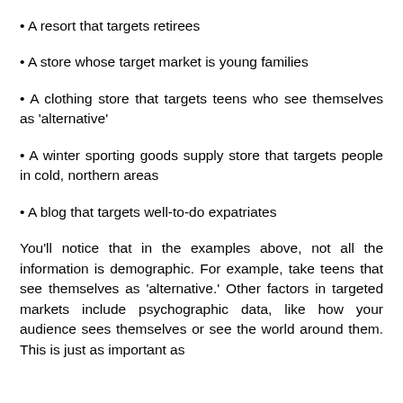• A resort that targets retirees
• A store whose target market is young families
• A clothing store that targets teens who see themselves as 'alternative'
• A winter sporting goods supply store that targets people in cold, northern areas
• A blog that targets well-to-do expatriates
You'll notice that in the examples above, not all the information is demographic. For example, take teens that see themselves as 'alternative.' Other factors in targeted markets include psychographic data, like how your audience sees themselves or see the world around them. This is just as important as